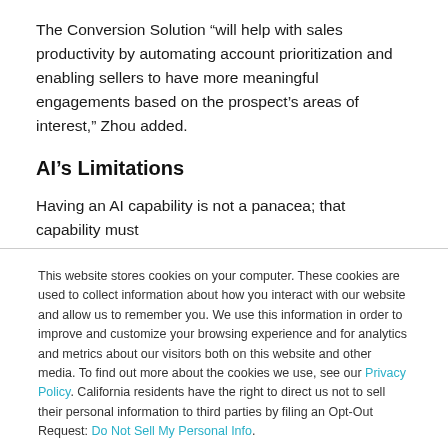The Conversion Solution “will help with sales productivity by automating account prioritization and enabling sellers to have more meaningful engagements based on the prospect’s areas of interest,” Zhou added.
AI’s Limitations
Having an AI capability is not a panacea; that capability must
This website stores cookies on your computer. These cookies are used to collect information about how you interact with our website and allow us to remember you. We use this information in order to improve and customize your browsing experience and for analytics and metrics about our visitors both on this website and other media. To find out more about the cookies we use, see our Privacy Policy. California residents have the right to direct us not to sell their personal information to third parties by filing an Opt-Out Request: Do Not Sell My Personal Info.
Accept